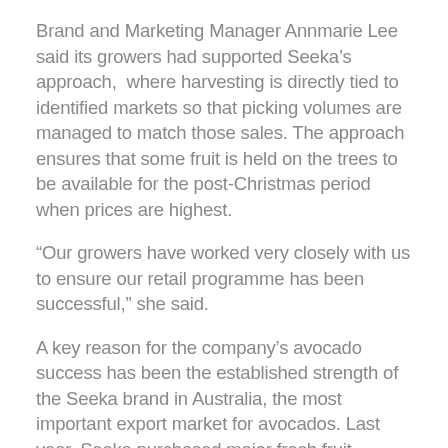Brand and Marketing Manager Annmarie Lee said its growers had supported Seeka's approach, where harvesting is directly tied to identified markets so that picking volumes are managed to match those sales. The approach ensures that some fruit is held on the trees to be available for the post-Christmas period when prices are highest.
“Our growers have worked very closely with us to ensure our retail programme has been successful,” she said.
A key reason for the company’s avocado success has been the established strength of the Seeka brand in Australia, the most important export market for avocados. Last year, Seeka purchased major fresh fruit producer Bunbartha Fruit Packers Pty, which has further strengthened its relationship with key Australian retailers.
“The demand for avocados in Australia is continuing to grow hugely,” she said. “However, we will also be shipping into Japan in the coming season, when we are